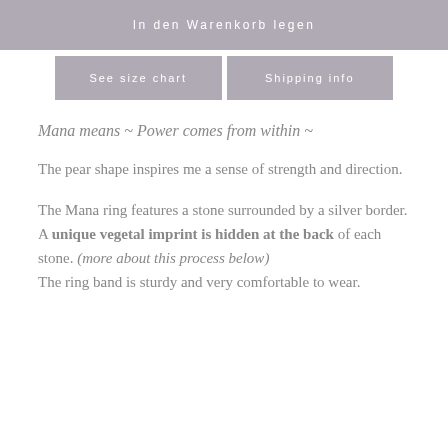In den Warenkorb legen
See size chart
Shipping info
Mana means ~ Power comes from within ~
The pear shape inspires me a sense of strength and direction.
The Mana ring features a stone surrounded by a silver border.
A unique vegetal imprint is hidden at the back of each stone. (more about this process below)
The ring band is sturdy and very comfortable to wear.